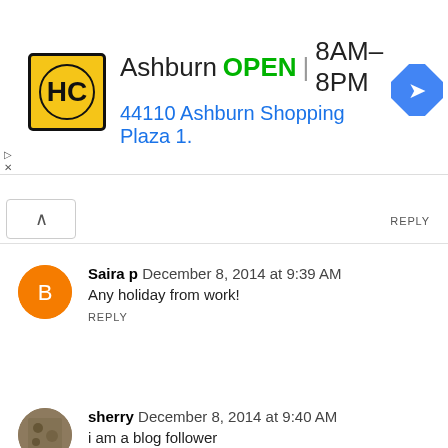[Figure (screenshot): Advertisement banner: HC logo (yellow background), 'Ashburn OPEN 8AM–8PM, 44110 Ashburn Shopping Plaza 1.' with navigation arrow icon]
REPLY
Saira p  December 8, 2014 at 9:39 AM
Any holiday from work!
REPLY
sherry  December 8, 2014 at 9:40 AM
i am a blog follower
REPLY
Jennifer  December 8, 2014 at 9:41 AM
Thanksgiving is my favorite